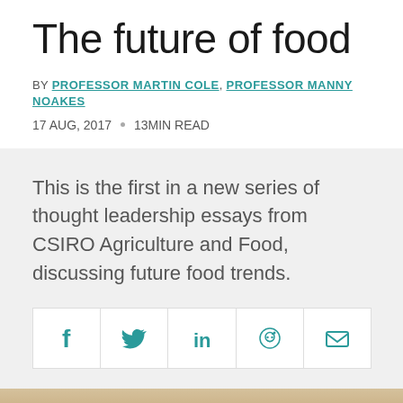The future of food
BY PROFESSOR MARTIN COLE, PROFESSOR MANNY NOAKES
17 AUG, 2017 · 13MIN READ
This is the first in a new series of thought leadership essays from CSIRO Agriculture and Food, discussing future food trends.
[Figure (other): Social sharing buttons: Facebook, Twitter, LinkedIn, Reddit, Email]
[Figure (photo): Photo of food containers with vegetables on a wooden surface]